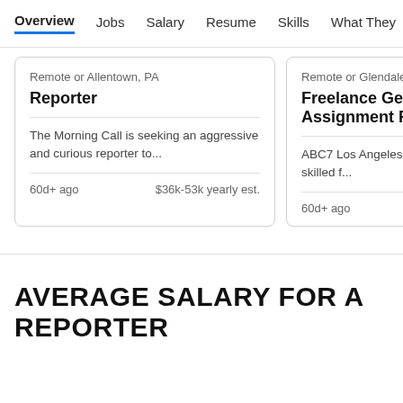Overview  Jobs  Salary  Resume  Skills  What They >
Remote or Allentown, PA
Reporter
The Morning Call is seeking an aggressive and curious reporter to...
60d+ ago   $36k-53k yearly est.
Remote or Glendale,
Freelance Gener... Assignment Repo...
ABC7 Los Angeles is s... flexible multi-skilled f...
60d+ ago   $34k...
AVERAGE SALARY FOR A REPORTER